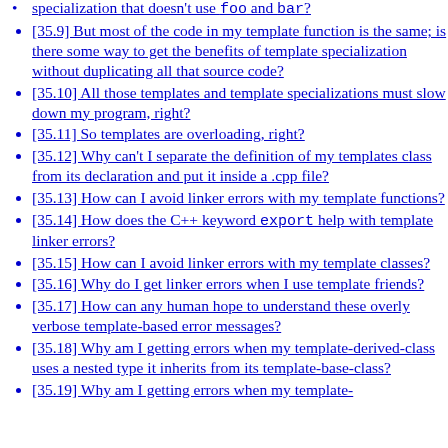specialization that doesn't use foo and bar?
[35.9] But most of the code in my template function is the same; is there some way to get the benefits of template specialization without duplicating all that source code?
[35.10] All those templates and template specializations must slow down my program, right?
[35.11] So templates are overloading, right?
[35.12] Why can't I separate the definition of my templates class from its declaration and put it inside a .cpp file?
[35.13] How can I avoid linker errors with my template functions?
[35.14] How does the C++ keyword export help with template linker errors?
[35.15] How can I avoid linker errors with my template classes?
[35.16] Why do I get linker errors when I use template friends?
[35.17] How can any human hope to understand these overly verbose template-based error messages?
[35.18] Why am I getting errors when my template-derived-class uses a nested type it inherits from its template-base-class?
[35.19] Why am I getting errors when my template-